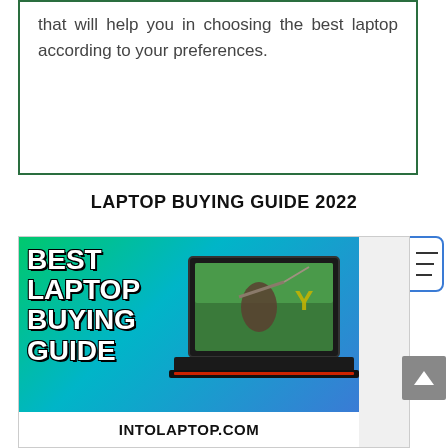that will help you in choosing the best laptop according to your preferences.
LAPTOP BUYING GUIDE 2022
[Figure (illustration): Best Laptop Buying Guide promotional image with gradient green-to-blue background, large bold white text reading BEST LAPTOP BUYING GUIDE on the left, a gaming laptop with a warrior/archer on screen and Lenovo logo on the right, and INTOLAPTOP.COM in black bold text on a white bar at the bottom.]